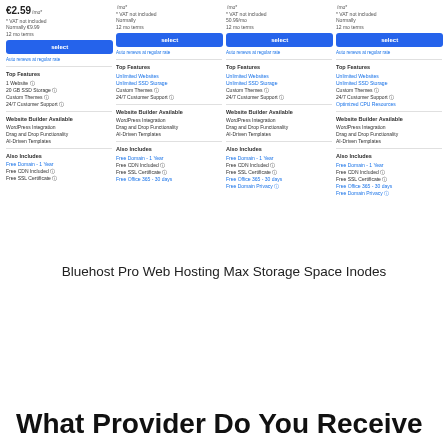[Figure (screenshot): Screenshot of a web hosting comparison page showing four pricing plan columns with prices, select buttons, features, website builder details, and included extras. First column shows €2.59/mo price. Three other columns show /mo prices. All have blue Select buttons and lists of features including Top Features, Website Builder, Also Includes sections.]
Bluehost Pro Web Hosting Max Storage Space Inodes
What Provider Do You Receive